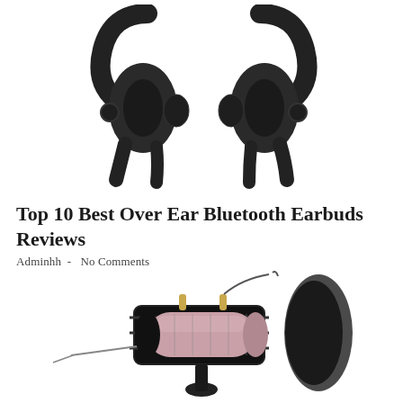[Figure (photo): Close-up photo of black over-ear Bluetooth earbuds/headphones viewed from the inner side, showing two earpieces with ear hooks against a white background]
Top 10 Best Over Ear Bluetooth Earbuds Reviews
Adminhh  -  No Comments
[Figure (photo): Photo of a black and rose gold condenser microphone with shock mount stand and a black circular pop filter/shield on the right, against a white background]